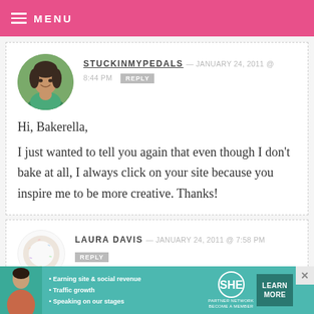MENU
STUCKINMYPEDALS — JANUARY 24, 2011 @ 8:44 PM REPLY

Hi, Bakerella,

I just wanted to tell you again that even though I don't bake at all, I always click on your site because you inspire me to be more creative. Thanks!
LAURA DAVIS — JANUARY 24, 2011 @ 7:58 PM REPLY
[Figure (infographic): SHE Partner Network advertisement banner with bullet points: Earning site & social revenue, Traffic growth, Speaking on our stages. BECOME A MEMBER. LEARN MORE button.]